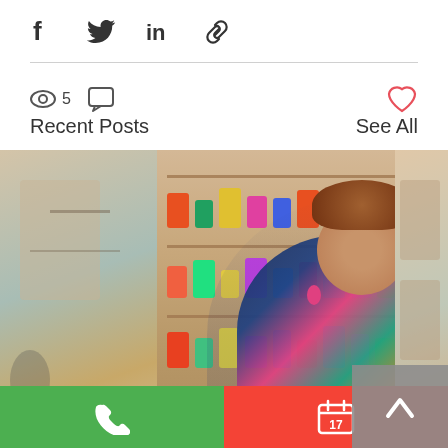[Figure (infographic): Social share icons: Facebook, Twitter, LinkedIn, Link/chain icon]
5 views, comment icon, heart/like icon
Recent Posts
See All
[Figure (photo): Photo of a smiling woman in a colorful patterned dress standing in a boutique store with jewelry/accessories displayed on shelves behind her. Partial photos of other posts visible on left and right sides.]
The Ways an Accountant Can...
[Figure (infographic): Bottom bar with green phone call button on left and red calendar scheduling button (showing date 17) on right]